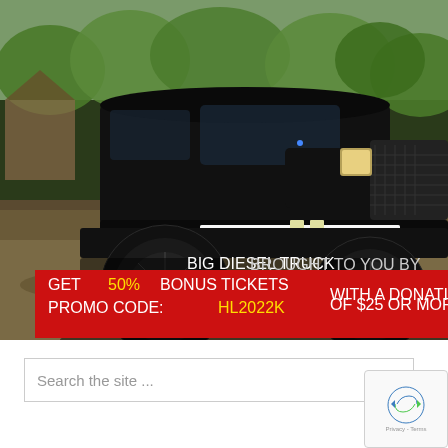[Figure (photo): Black lifted diesel truck (Ford Super Duty) with custom black wheels, LED light bar on front bumper, and aftermarket grille, parked on dirt/gravel outdoor area with trees and barn in background. Promotional overlays: BIG DIESEL TRUCK DREAM GIVEAWAY logo with DG emblem, BROUGHT TO YOU BY Ceramic Pro logo, and red banner reading GET 50% BONUS TICKETS PROMO CODE: HL2022K WITH A DONATION OF $25 OR MORE]
Search the site ...